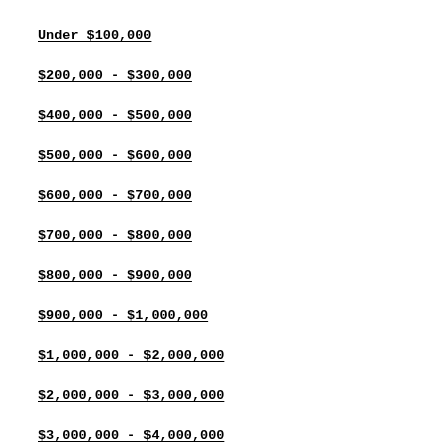Under $100,000
$200,000 - $300,000
$400,000 - $500,000
$500,000 - $600,000
$600,000 - $700,000
$700,000 - $800,000
$800,000 - $900,000
$900,000 - $1,000,000
$1,000,000 - $2,000,000
$2,000,000 - $3,000,000
$3,000,000 - $4,000,000